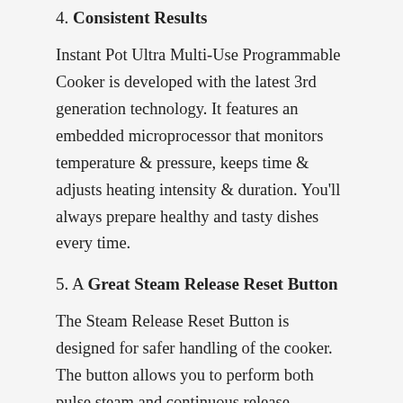4. Consistent Results
Instant Pot Ultra Multi-Use Programmable Cooker is developed with the latest 3rd generation technology. It features an embedded microprocessor that monitors temperature & pressure, keeps time & adjusts heating intensity & duration. You'll always prepare healthy and tasty dishes every time.
5. A Great Steam Release Reset Button
The Steam Release Reset Button is designed for safer handling of the cooker. The button allows you to perform both pulse steam and continuous release manually. Once the Steam Release Button is in “venting position,” it automatically resets to the “sealing position when you open/ close the lid.